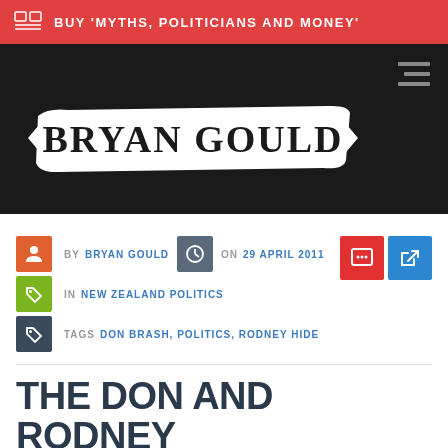BUY 'MYTHS, POLITICIANS AND MONEY'
[Figure (logo): Bryan Gould blog logo - white text on black brushstroke banner on dark background]
BY BRYAN GOULD ON 29 APRIL 2011 IN NEW ZEALAND POLITICS TAGS DON BRASH, POLITICS, RODNEY HIDE
THE DON AND RODNEY